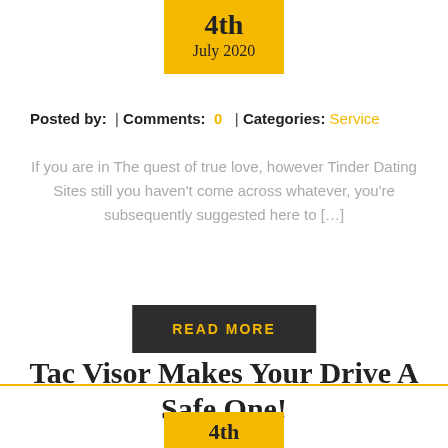4th July 2020
Posted by:  | Comments:  0  | Categories: Service
If you are in The quest of true love, however Tinder Dating Sites still you haven't come across whatever, you're subsequently suggested here to […]
READ MORE
Tac Visor Makes Your Drive A Safe One!
4th